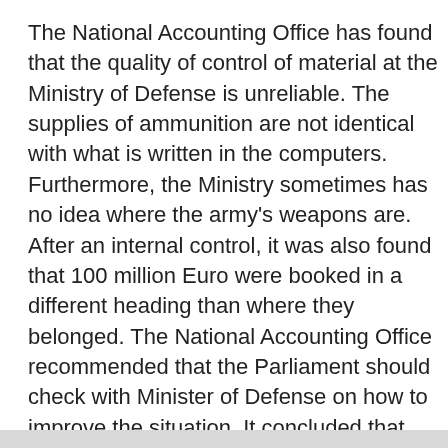The National Accounting Office has found that the quality of control of material at the Ministry of Defense is unreliable. The supplies of ammunition are not identical with what is written in the computers. Furthermore, the Ministry sometimes has no idea where the army's weapons are. After an internal control, it was also found that 100 million Euro were booked in a different heading than where they belonged. The National Accounting Office recommended that the Parliament should check with Minister of Defense on how to improve the situation. It concluded that the Ministry runs risks if this year there is not a reliable control of where the military material is established. www.volkskrant.nl/vk/nl/2686/Binnenland/article/detail/3352499/2012/11/23/Algemene-Rekenkamer-Chaos-bij-Defensie.dhtml